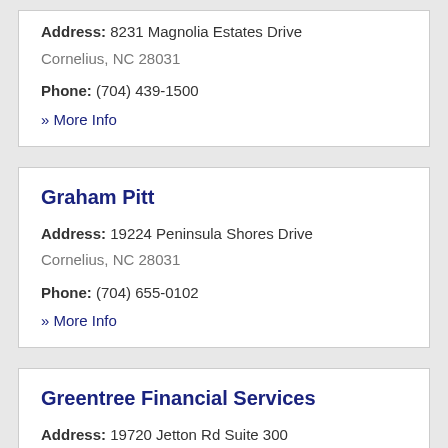Address: 8231 Magnolia Estates Drive Cornelius, NC 28031
Phone: (704) 439-1500
» More Info
Graham Pitt
Address: 19224 Peninsula Shores Drive Cornelius, NC 28031
Phone: (704) 655-0102
» More Info
Greentree Financial Services
Address: 19720 Jetton Rd Suite 300 Cornelius, NC 28031